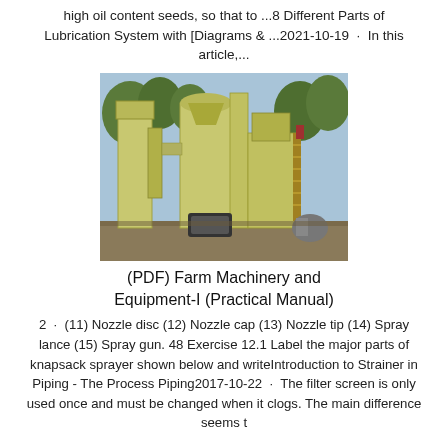high oil content seeds, so that to ...8 Different Parts of Lubrication System with [Diagrams & ...2021-10-19 · In this article,...
[Figure (photo): Photograph of large yellow industrial farm/processing machinery with silos, ducts, and a ladder, set outdoors with trees in the background.]
(PDF) Farm Machinery and Equipment-I (Practical Manual)
2 · (11) Nozzle disc (12) Nozzle cap (13) Nozzle tip (14) Spray lance (15) Spray gun. 48 Exercise 12.1 Label the major parts of knapsack sprayer shown below and writeIntroduction to Strainer in Piping - The Process Piping2017-10-22 · The filter screen is only used once and must be changed when it clogs. The main difference seems t